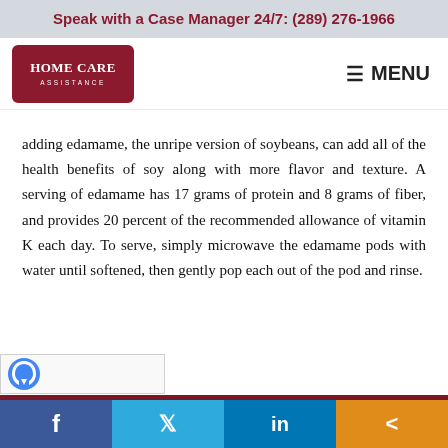Speak with a Case Manager 24/7: (289) 276-1966
[Figure (logo): Home Care Assistance logo — dark red rounded rectangle with white text reading HOME CARE ASSISTANCE]
MENU
adding edamame, the unripe version of soybeans, can add all of the health benefits of soy along with more flavor and texture. A serving of edamame has 17 grams of protein and 8 grams of fiber, and provides 20 percent of the recommended allowance of vitamin K each day. To serve, simply microwave the edamame pods with water until softened, then gently pop each out of the pod and rinse.